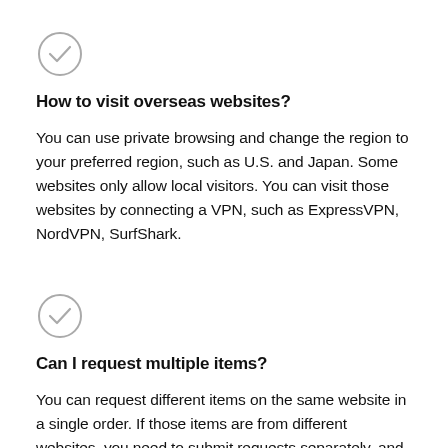[Figure (illustration): Checkmark icon inside a circle]
How to visit overseas websites?
You can use private browsing and change the region to your preferred region, such as U.S. and Japan. Some websites only allow local visitors. You can visit those websites by connecting a VPN, such as ExpressVPN, NordVPN, SurfShark.
[Figure (illustration): Checkmark icon inside a circle]
Can I request multiple items?
You can request different items on the same website in a single order. If those items are from different websites, you need to submit requests separately, and the service